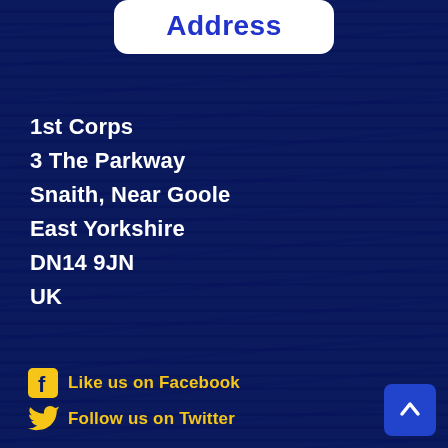Address
1st Corps
3 The Parkway
Snaith, Near Goole
East Yorkshire
DN14 9JN
UK
Follow Us
Like us on Facebook
Follow us on Twitter